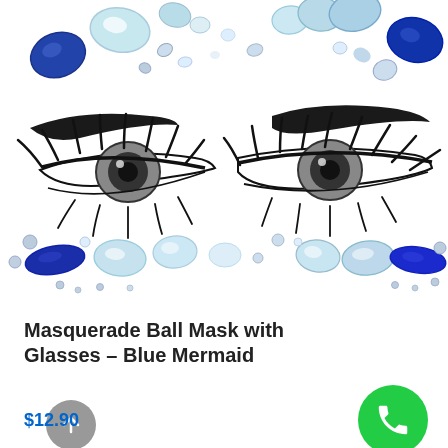[Figure (illustration): Masquerade face jewels/gems illustration showing two stylized eyes with heavy eyelashes, eyebrows, and decorative gemstones arranged along the top and bottom — blue, iridescent/pearl, and crystal gems in various shapes (teardrop, oval, marquise) on a white background.]
Masquerade Ball Mask with Glasses – Blue Mermaid
$12.90